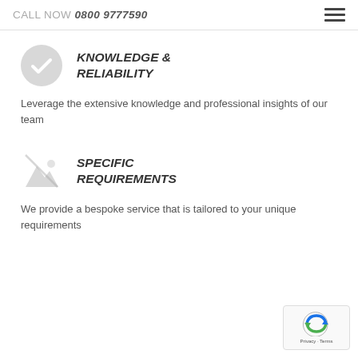CALL NOW 0800 9777590
KNOWLEDGE & RELIABILITY
Leverage the extensive knowledge and professional insights of our team
SPECIFIC REQUIREMENTS
We provide a bespoke service that is tailored to your unique requirements
[Figure (logo): reCAPTCHA badge with Privacy and Terms links]